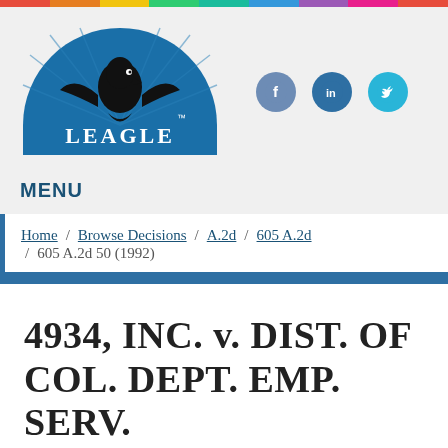[Figure (logo): Leagle.com logo — blue semicircle with eagle silhouette and LEAGLE text in white]
MENU
Home / Browse Decisions / A.2d / 605 A.2d / 605 A.2d 50 (1992)
4934, INC. v. DIST. OF COL. DEPT. EMP. SERV.